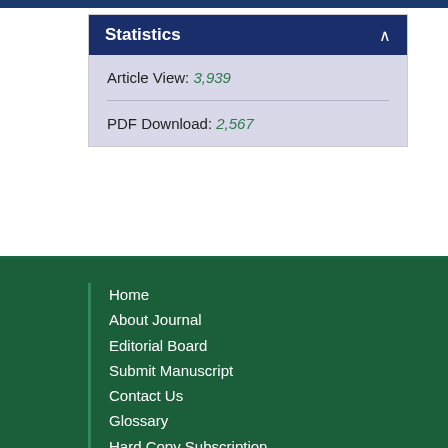Statistics
Article View: 3,939
PDF Download: 2,567
Home
About Journal
Editorial Board
Submit Manuscript
Contact Us
Glossary
Hard Copy Subscription
Sitemap